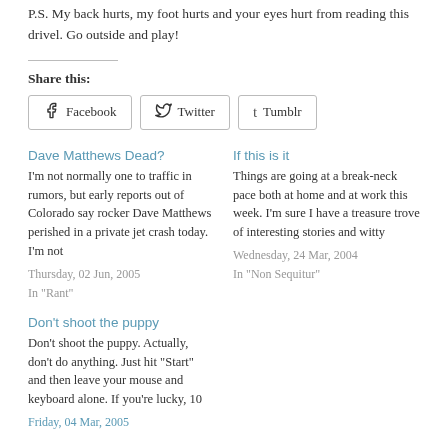P.S. My back hurts, my foot hurts and your eyes hurt from reading this drivel. Go outside and play!
Share this:
Facebook  Twitter  Tumblr
Dave Matthews Dead?
I'm not normally one to traffic in rumors, but early reports out of Colorado say rocker Dave Matthews perished in a private jet crash today. I'm not
Thursday, 02 Jun, 2005
In "Rant"
If this is it
Things are going at a break-neck pace both at home and at work this week. I'm sure I have a treasure trove of interesting stories and witty
Wednesday, 24 Mar, 2004
In "Non Sequitur"
Don't shoot the puppy
Don't shoot the puppy. Actually, don't do anything. Just hit "Start" and then leave your mouse and keyboard alone. If you're lucky, 10
Friday, 04 Mar, 2005